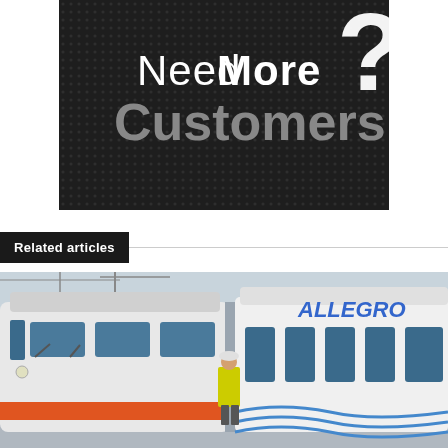[Figure (infographic): Dark textured advertisement banner with text 'Need More Customers?' in white and gray bold font on black dotted background]
Related articles
[Figure (photo): Photo of two trains side by side: a white and orange train on the left, and a white Allegro high-speed train on the right with blue ALLEGRO branding. A person in a yellow safety vest stands between them.]